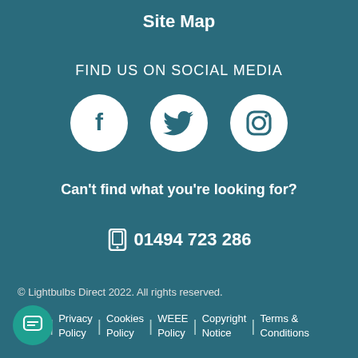Site Map
FIND US ON SOCIAL MEDIA
[Figure (illustration): Three white circular social media icons: Facebook, Twitter, Instagram on teal background]
Can't find what you're looking for?
01494 723 286
© Lightbulbs Direct 2022. All rights reserved.
About Us | Privacy Policy | Cookies Policy | WEEE Policy | Copyright Notice | Terms & Conditions